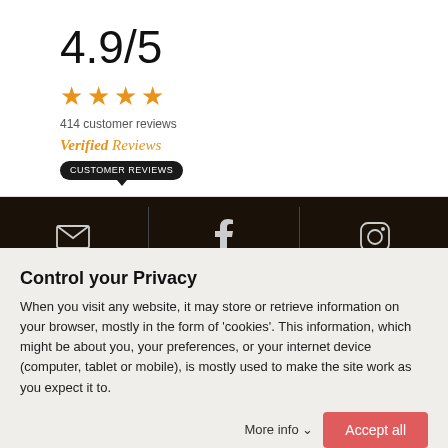4.9/5
[Figure (other): 4 orange star icons representing rating]
414 customer reviews
Verified Reviews
[Figure (other): Dark rounded badge with text CUSTOMER REVIEWS and downward pointing arrow]
[Figure (other): Dark footer bar with email icon, Facebook icon, and Instagram icon separated by vertical dividers]
Control your Privacy
When you visit any website, it may store or retrieve information on your browser, mostly in the form of 'cookies'. This information, which might be about you, your preferences, or your internet device (computer, tablet or mobile), is mostly used to make the site work as you expect it to.
More info  Accept all